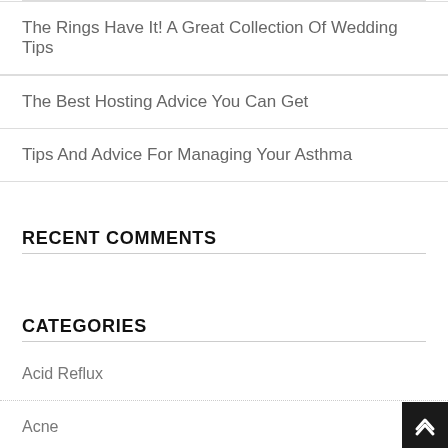The Rings Have It! A Great Collection Of Wedding Tips
The Best Hosting Advice You Can Get
Tips And Advice For Managing Your Asthma
RECENT COMMENTS
CATEGORIES
Acid Reflux
Acne